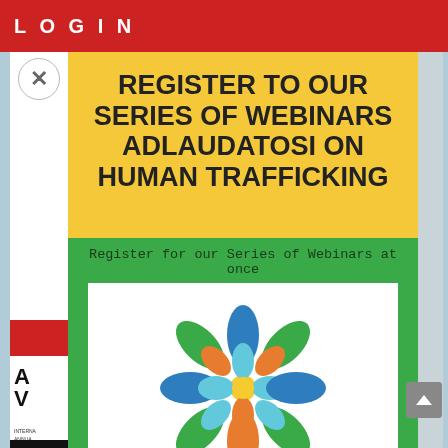LOGIN
REGISTER TO OUR SERIES OF WEBINARS ADLAUDATOSI ON HUMAN TRAFFICKING
Register for our Series of Webinars at once
[Figure (logo): Decorative logo with petal/leaf shapes in green, blue, orange, and light blue arranged in a 3x3 symmetrical grid pattern on white background, with a yellow circle in the center]
INTERNATIONAL WEBINARS